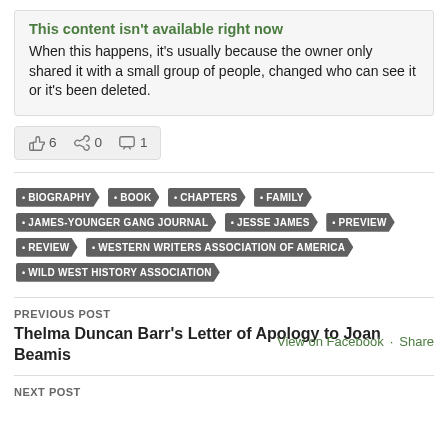This content isn't available right now
When this happens, it's usually because the owner only shared it with a small group of people, changed who can see it or it's been deleted.
[Figure (infographic): Reaction bar showing thumbs up icon with 6 likes, share icon with 0 shares, comment icon with 1 comment, and View on Facebook · Share links]
BIOGRAPHY
BOOK
CHAPTERS
FAMILY
JAMES-YOUNGER GANG JOURNAL
JESSE JAMES
PREVIEW
REVIEW
WESTERN WRITERS ASSOCIATION OF AMERICA
WILD WEST HISTORY ASSOCIATION
PREVIOUS POST
Thelma Duncan Barr's Letter of Apology to Joan Beamis
NEXT POST